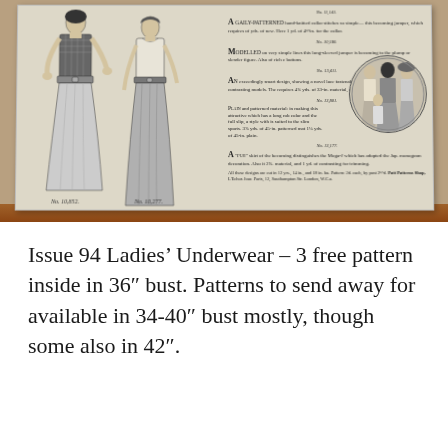[Figure (illustration): Photograph of a vintage fashion magazine page showing illustrated ladies' fashion figures (jumpers/dresses) with pattern numbers No. 10,852 and No. 10,277 on the left, a circular vignette illustration of figures from behind on the right, and columns of small descriptive text for patterns including No. 11,141, No. 10,380, No. 13,411, No. 13,801, No. 13,177. The page is set on a wooden surface.]
Issue 94 Ladies' Underwear – 3 free pattern inside in 36" bust. Patterns to send away for available in 34-40" bust mostly, though some also in 42".